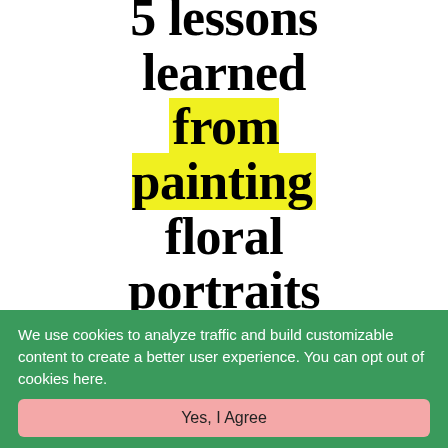5 lessons learned from painting floral portraits
We use cookies to analyze traffic and build customizable content to create a better user experience. You can opt out of cookies here.
Yes, I Agree